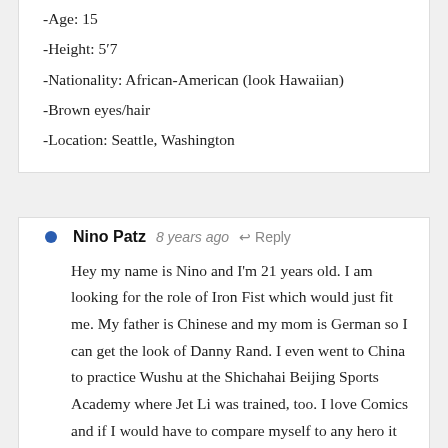-Age: 15
-Height: 5'7
-Nationality: African-American (look Hawaiian)
-Brown eyes/hair
-Location: Seattle, Washington
Nino Patz  8 years ago  ↩ Reply
Hey my name is Nino and I'm 21 years old. I am looking for the role of Iron Fist which would just fit me. My father is Chinese and my mom is German so I can get the look of Danny Rand. I even went to China to practice Wushu at the Shichahai Beijing Sports Academy where Jet Li was trained, too. I love Comics and if I would have to compare myself to any hero it would be Iron Fist, I love martial arts and philosophy and I have experience in acting as well. I